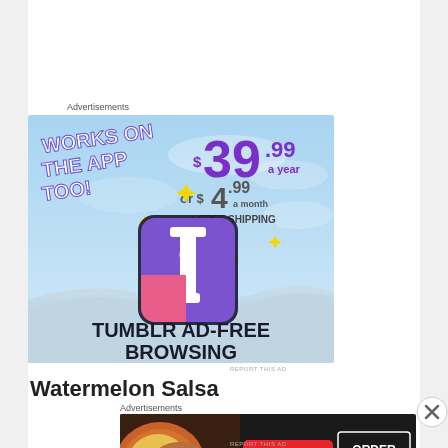Advertisements
[Figure (illustration): Tumblr Ad-Free Browsing advertisement banner. Light blue sky background with Tumblr 't' logo in pink/purple/white. Text: WORKS ON THE APP TOO!, $39.99 a year or $4.99 a month + FREE SHIPPING. TUMBLR AD-FREE BROWSING.]
REPORT THIS AD
Watermelon Salsa
Advertisements
[Figure (illustration): Seamless food delivery advertisement. Dark background with pizza image on left, Seamless logo in red/white center, ORDER NOW button on right.]